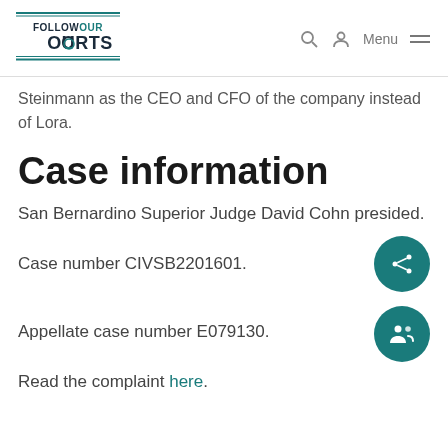FOLLOWOURCOURTS [logo] | Search | Account | Menu
Steinmann as the CEO and CFO of the company instead of Lora.
Case information
San Bernardino Superior Judge David Cohn presided.
Case number CIVSB2201601.
Appellate case number E079130.
Read the complaint here.